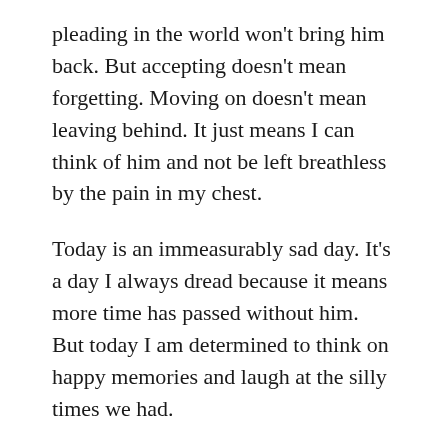pleading in the world won't bring him back. But accepting doesn't mean forgetting. Moving on doesn't mean leaving behind. It just means I can think of him and not be left breathless by the pain in my chest.
Today is an immeasurably sad day. It's a day I always dread because it means more time has passed without him. But today I am determined to think on happy memories and laugh at the silly times we had.
I'll think of the pair of us singing Bon Jovi as we drove around town, I'll laugh at the memory of him pretending to friends I was a French girl he'd taken home from holiday, and I'll never